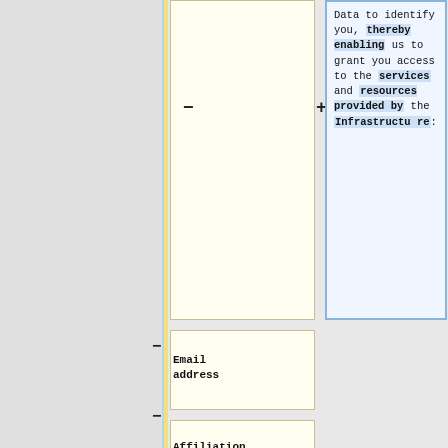Data to identify you, thereby enabling us to grant you access to the services and resources provided by the Infrastructure:
- Email address
- Affiliation (e.g. HQ)